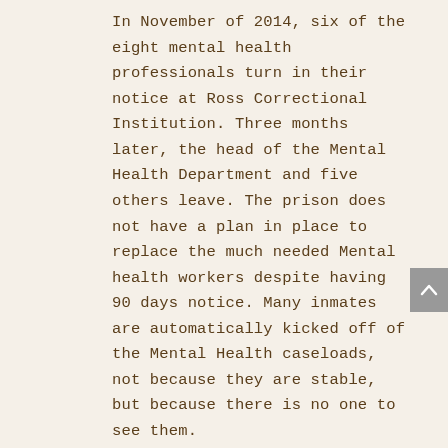In November of 2014, six of the eight mental health professionals turn in their notice at Ross Correctional Institution. Three months later, the head of the Mental Health Department and five others leave. The prison does not have a plan in place to replace the much needed Mental health workers despite having 90 days notice. Many inmates are automatically kicked off of the Mental Health caseloads, not because they are stable, but because there is no one to see them.
I was one of those inmates and it took a year to get back on the Mental Health caseload. After two short visits I find myself kicked off of the caseload again